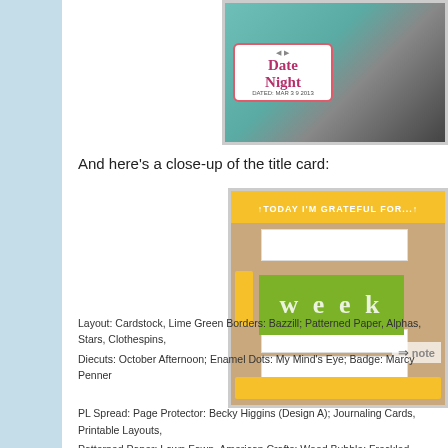[Figure (photo): Close-up of a scrapbook Date Night card with teal background and a couple's photo]
And here's a close-up of the title card:
[Figure (photo): Close-up of a title card with 'TODAY I'M GRATEFUL FOR...' header in yellow, a green 'week' label, lined journaling areas, and a notes arrow, on kraft/tan chevron background]
Layout: Cardstock, Lime Green Borders: Bazzill; Patterned Paper, Alphas, Stars, Clothespins, Diecuts: October Afternoon; Enamel Dots: My Mind's Eye; Badge: Marcy Penner
PL Spread: Page Protector: Becky Higgins (Design A); Journaling Cards, Printable Layouts,
Patterned Paper: Lawn Fawn, American Crafts; Wood Bubble: Freckled Fawn; Alphamo...